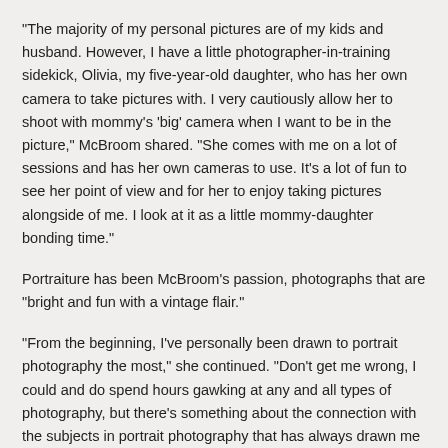"The majority of my personal pictures are of my kids and husband. However, I have a little photographer-in-training sidekick, Olivia, my five-year-old daughter, who has her own camera to take pictures with. I very cautiously allow her to shoot with mommy's 'big' camera when I want to be in the picture," McBroom shared. "She comes with me on a lot of sessions and has her own cameras to use. It's a lot of fun to see her point of view and for her to enjoy taking pictures alongside of me. I look at it as a little mommy-daughter bonding time."
Portraiture has been McBroom's passion, photographs that are "bright and fun with a vintage flair."
"From the beginning, I've personally been drawn to portrait photography the most," she continued. "Don't get me wrong, I could and do spend hours gawking at any and all types of photography, but there's something about the connection with the subjects in portrait photography that has always drawn me in."
She said she is primarily a newborn, infant, children's, senior and family photographer.
"I love to do themed, stylized sessions, making sure that each session is unique and personal to each of my clients," McBroom explained. "I usually run a couple mini session specials throughout the year for Valentine's, Easter, holiday and friends sessions that are stylized to fit the theme at hand, as well as special promotions which are usually announced via my Facebook